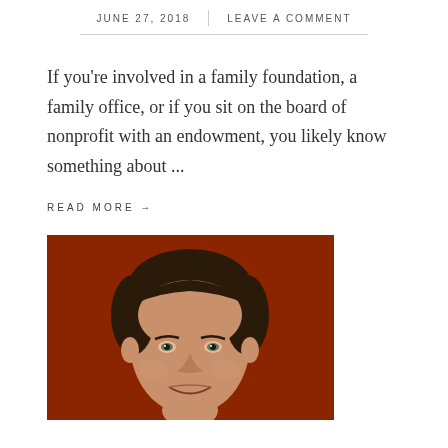JUNE 27, 2018 | LEAVE A COMMENT
If you're involved in a family foundation, a family office, or if you sit on the board of nonprofit with an endowment, you likely know something about ...
READ MORE →
[Figure (photo): Headshot of a man with dark hair smiling, against a dark red/brown background]